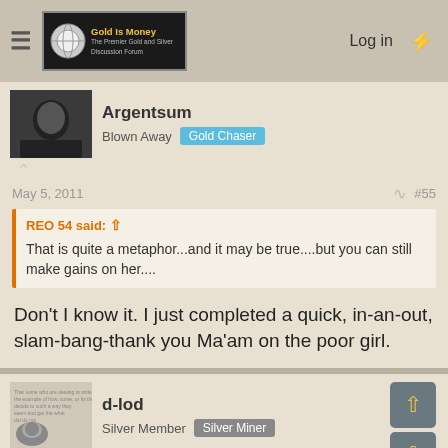Gold Is Money — The Premier Gold and Silver Discussion Forum | Log in
Argentsum
Blown Away   Gold Chaser
May 5, 2011   #55
REO 54 said: That is quite a metaphor...and it may be true....but you can still make gains on her....
Don't I know it. I just completed a quick, in-an-out, slam-bang-thank you Ma'am on the poor girl.
d-lod
Silver Member   Silver Miner
May 6, 2011   #56
Argentsum said: